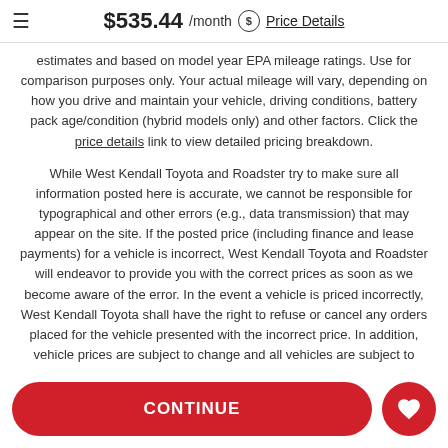$535.44 /month Price Details
estimates and based on model year EPA mileage ratings. Use for comparison purposes only. Your actual mileage will vary, depending on how you drive and maintain your vehicle, driving conditions, battery pack age/condition (hybrid models only) and other factors. Click the price details link to view detailed pricing breakdown.
While West Kendall Toyota and Roadster try to make sure all information posted here is accurate, we cannot be responsible for typographical and other errors (e.g., data transmission) that may appear on the site. If the posted price (including finance and lease payments) for a vehicle is incorrect, West Kendall Toyota and Roadster will endeavor to provide you with the correct prices as soon as we become aware of the error. In the event a vehicle is priced incorrectly, West Kendall Toyota shall have the right to refuse or cancel any orders placed for the vehicle presented with the incorrect price. In addition, vehicle prices are subject to change and all vehicles are subject to prior sale and may not be available when you are